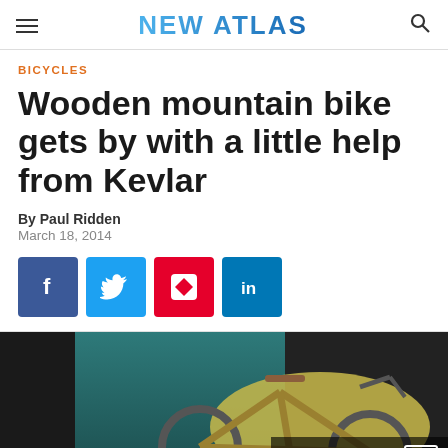NEW ATLAS
BICYCLES
Wooden mountain bike gets by with a little help from Kevlar
By Paul Ridden
March 18, 2014
[Figure (infographic): Social sharing buttons: Facebook, Twitter, Flipboard, LinkedIn]
[Figure (photo): Photo of a wooden/Kevlar mountain bike with yellow frame displayed at an exhibition, with teal curtain backdrop. Overlay reads: VIEW 10 IMAGES with expand icon.]